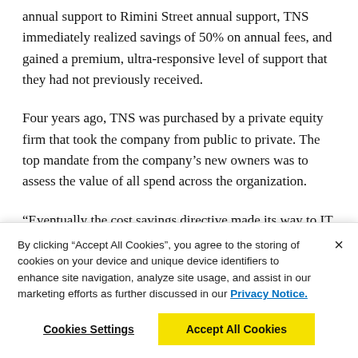annual support to Rimini Street annual support, TNS immediately realized savings of 50% on annual fees, and gained a premium, ultra-responsive level of support that they had not previously received.
Four years ago, TNS was purchased by a private equity firm that took the company from public to private. The top mandate from the company's new owners was to assess the value of all spend across the organization.
“Eventually the cost savings directive made its way to IT
By clicking “Accept All Cookies”, you agree to the storing of cookies on your device and unique device identifiers to enhance site navigation, analyze site usage, and assist in our marketing efforts as further discussed in our Privacy Notice.
Cookies Settings
Accept All Cookies